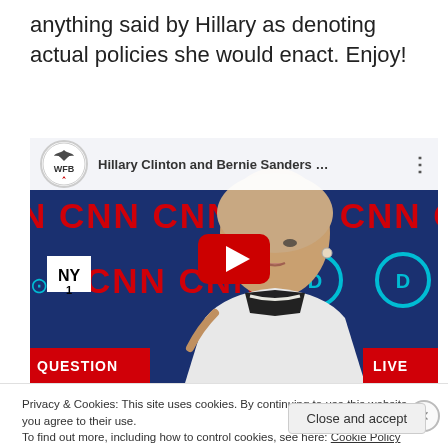anything said by Hillary as denoting actual policies she would enact. Enjoy!
[Figure (screenshot): YouTube video thumbnail showing Hillary Clinton at a CNN Democratic debate with Bernie Sanders. The WFB (Washington Free Beacon) YouTube channel logo is shown in the top-left corner. The video title reads 'Hillary Clinton and Bernie Sanders ...' A red YouTube play button is centered on the thumbnail. CNN logos appear in the background along with NY1 branding. A 'QUESTION' lower-third bar in red appears at the bottom left, and 'LIVE' appears at the bottom right.]
Privacy & Cookies: This site uses cookies. By continuing to use this website, you agree to their use.
To find out more, including how to control cookies, see here: Cookie Policy